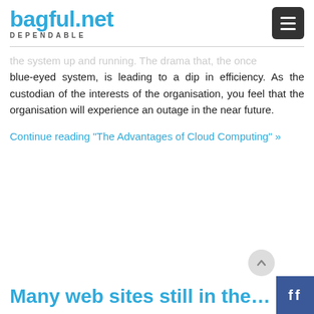bagful.net DEPENDABLE
the system up and running. The drama that, the once blue-eyed system, is leading to a dip in efficiency. As the custodian of the interests of the organisation, you feel that the organisation will experience an outage in the near future.
Continue reading “The Advantages of Cloud Computing” »
Many web sites still in the…